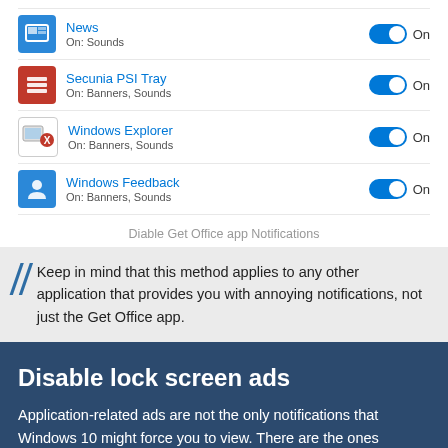News — On: Sounds — Toggle: On
Secunia PSI Tray — On: Banners, Sounds — Toggle: On
Windows Explorer — On: Banners, Sounds — Toggle: On
Windows Feedback — On: Banners, Sounds — Toggle: On
Diable Get Office app Notifications
Keep in mind that this method applies to any other application that provides you with annoying notifications, not just the Get Office app.
Disable lock screen ads
Application-related ads are not the only notifications that Windows 10 might force you to view. There are the ones displayed as the background image of your computer's lock screen, called Feeds. But they also extend to lock...